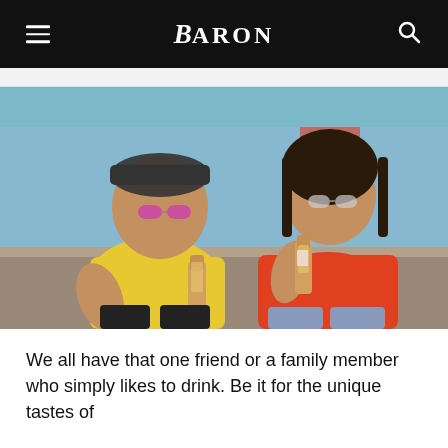BARON
[Figure (photo): A man in a yellow t-shirt and sunglasses and a woman in a red t-shirt and sunglasses sitting outdoors, both holding beverage bottles, appearing to be in conversation.]
We all have that one friend or a family member who simply likes to drink. Be it for the unique tastes of